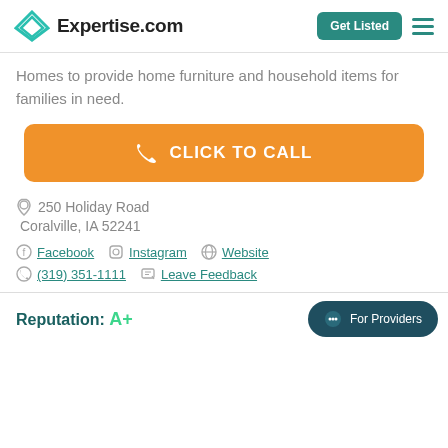Expertise.com | Get Listed
Homes to provide home furniture and household items for families in need.
[Figure (other): Orange 'CLICK TO CALL' button with phone icon]
250 Holiday Road
Coralville, IA 52241
Facebook  Instagram  Website
(319) 351-1111  Leave Feedback
Reputation: A+